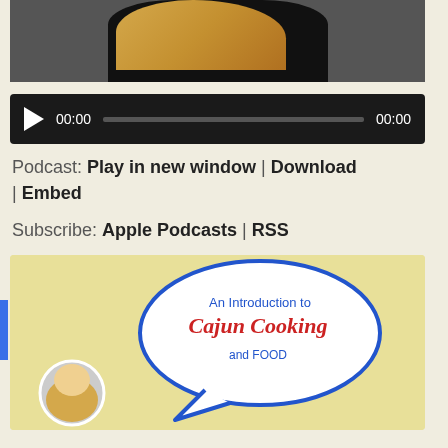[Figure (photo): Partial view of a woman with blonde hair wearing a black top, cropped at the torso/shoulder area]
[Figure (other): Audio player widget with dark background, play button, time stamps 00:00 and 00:00, and a progress bar]
Podcast: Play in new window | Download | Embed
Subscribe: Apple Podcasts | RSS
[Figure (illustration): Podcast cover art on yellow background showing a speech bubble with text 'An Introduction to Cajun Cooking and FOOD' and a circular photo of the host (blonde woman)]